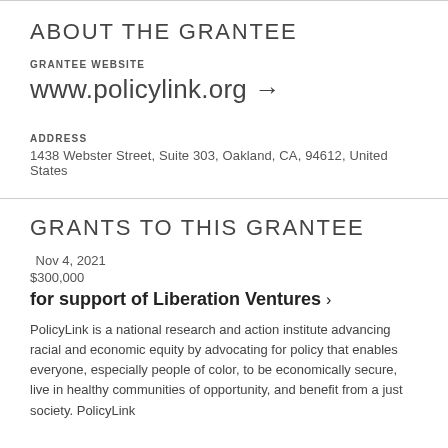ABOUT THE GRANTEE
GRANTEE WEBSITE
www.policylink.org →
ADDRESS
1438 Webster Street, Suite 303, Oakland, CA, 94612, United States
GRANTS TO THIS GRANTEE
Nov 4, 2021
$300,000
for support of Liberation Ventures ›
PolicyLink is a national research and action institute advancing racial and economic equity by advocating for policy that enables everyone, especially people of color, to be economically secure, live in healthy communities of opportunity, and benefit from a just society. PolicyLink